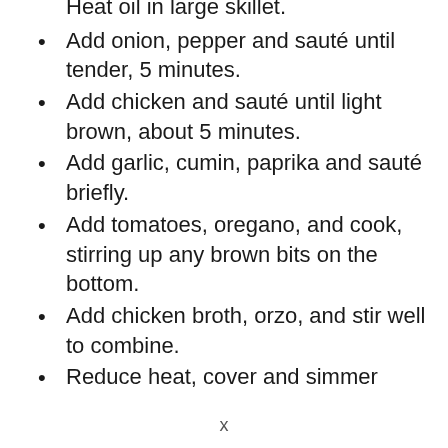Heat oil in large skillet.
Add onion, pepper and sauté until tender, 5 minutes.
Add chicken and sauté until light brown, about 5 minutes.
Add garlic, cumin, paprika and sauté briefly.
Add tomatoes, oregano, and cook, stirring up any brown bits on the bottom.
Add chicken broth, orzo, and stir well to combine.
Reduce heat, cover and simmer
x